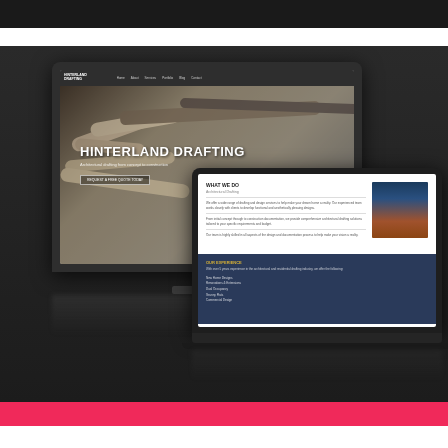[Figure (screenshot): A dark-background mockup showing two devices: a desktop monitor and a laptop, both displaying the Hinterland Drafting website. The monitor shows the hero section with 'HINTERLAND DRAFTING' headline and blueprint/drafting roll imagery. The laptop shows an inner page with 'WHAT WE DO' section and 'OUR EXPERIENCE' dark panel. The overall background is very dark charcoal/black with a pink/red bar at the bottom.]